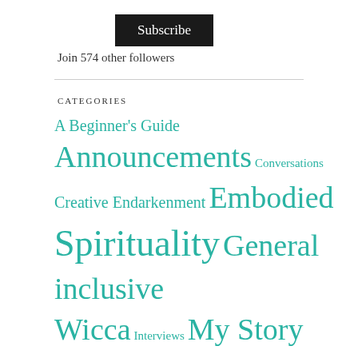[Figure (other): Subscribe button — black rectangle with white 'Subscribe' text]
Join 574 other followers
CATEGORIES
A Beginner's Guide Announcements Conversations Creative Endarkenment Embodied Spirituality General inclusive Wicca Interviews My Story News Commentary Pagan Studies Poetry Praxis Related